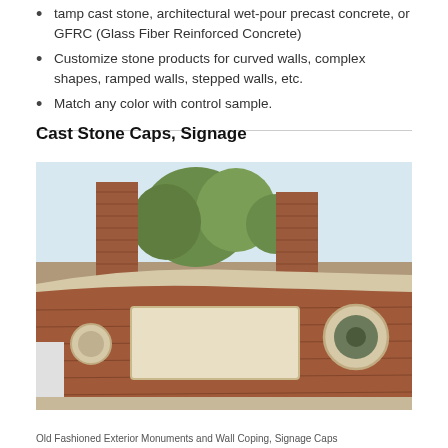tamp cast stone, architectural wet-pour precast concrete, or GFRC (Glass Fiber Reinforced Concrete)
Customize stone products for curved walls, complex shapes, ramped walls, stepped walls, etc.
Match any color with control sample.
Cast Stone Caps, Signage
[Figure (photo): Exterior view of a curved brick wall with cast stone caps, a rectangular cast stone sign panel, and a circular medallion element. Brick columns and trees visible in background.]
Old Fashioned Exterior Monuments and Wall Coping, Signage Caps